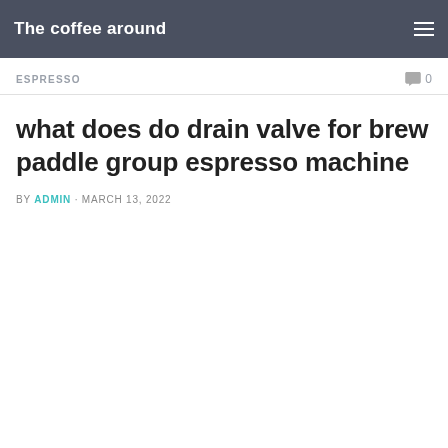The coffee around
ESPRESSO   0
what does do drain valve for brew paddle group espresso machine
BY ADMIN · MARCH 13, 2022
[Figure (other): Yellow advertisement placeholder block]